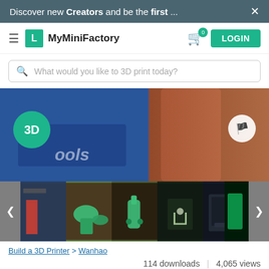Discover new Creators and be the first ...  ×
[Figure (screenshot): MyMiniFactory website navigation bar with hamburger menu, logo, brand name, cart with 0 badge, and LOGIN button]
What would you like to 3D print today?
[Figure (photo): Main product image showing a 3D printer with a blue/dark left side and red/brown cylindrical object on the right, with a green '3D' badge circle and a flag button]
[Figure (photo): Thumbnail strip showing 5 product photos of 3D printed parts and a printer, with left/right navigation arrows]
Build a 3D Printer > Wanhao
114 downloads  |  4,065 views
♥ 14   💬 0   ⏱   Add to Collection   >   🏴